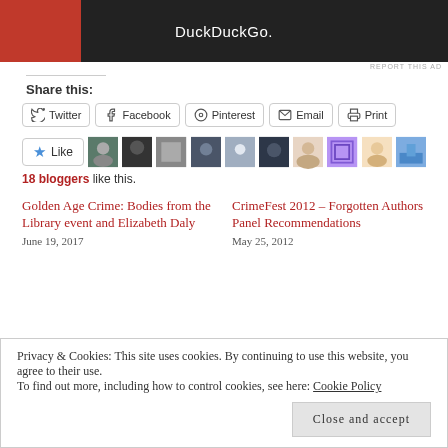[Figure (screenshot): DuckDuckGo advertisement banner with orange and dark background]
REPORT THIS AD
Share this:
Twitter
Facebook
Pinterest
Email
Print
[Figure (photo): Like button with star icon followed by 10 blogger avatar thumbnails]
18 bloggers like this.
Golden Age Crime: Bodies from the Library event and Elizabeth Daly
June 19, 2017
CrimeFest 2012 – Forgotten Authors Panel Recommendations
May 25, 2012
Privacy & Cookies: This site uses cookies. By continuing to use this website, you agree to their use.
To find out more, including how to control cookies, see here: Cookie Policy
Close and accept